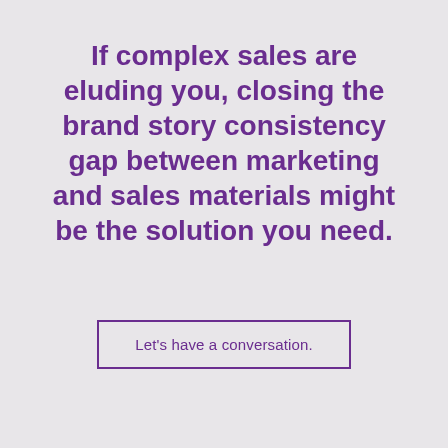If complex sales are eluding you, closing the brand story consistency gap between marketing and sales materials might be the solution you need.
Let's have a conversation.